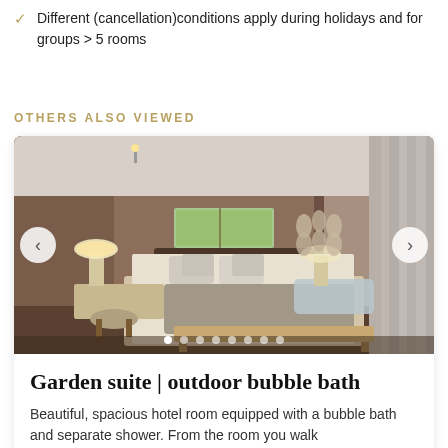Different (cancellation)conditions apply during holidays and for groups > 5 rooms
OTHERS ALSO VIEWED
[Figure (photo): Hotel room with a large double bed, warm brown walls, soft lighting from bedside lamps, decorative wall ornaments, a window above the headboard, a bench at the foot of the bed, and light curtains on the right. Navigation arrows and dot indicators visible.]
Garden suite | outdoor bubble bath
Beautiful, spacious hotel room equipped with a bubble bath and separate shower. From the room you walk